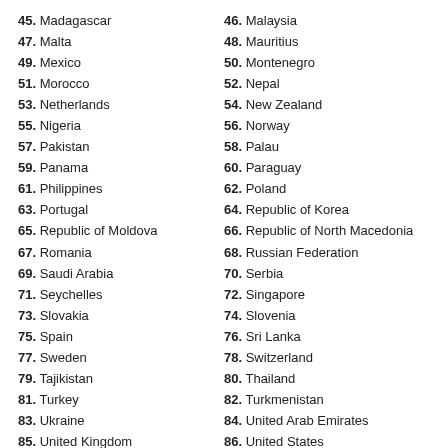45. Madagascar
47. Malta
49. Mexico
51. Morocco
53. Netherlands
55. Nigeria
57. Pakistan
59. Panama
61. Philippines
63. Portugal
65. Republic of Moldova
67. Romania
69. Saudi Arabia
71. Seychelles
73. Slovakia
75. Spain
77. Sweden
79. Tajikistan
81. Turkey
83. Ukraine
85. United Kingdom
46. Malaysia
48. Mauritius
50. Montenegro
52. Nepal
54. New Zealand
56. Norway
58. Palau
60. Paraguay
62. Poland
64. Republic of Korea
66. Republic of North Macedonia
68. Russian Federation
70. Serbia
72. Singapore
74. Slovenia
76. Sri Lanka
78. Switzerland
80. Thailand
82. Turkmenistan
84. United Arab Emirates
86. United States